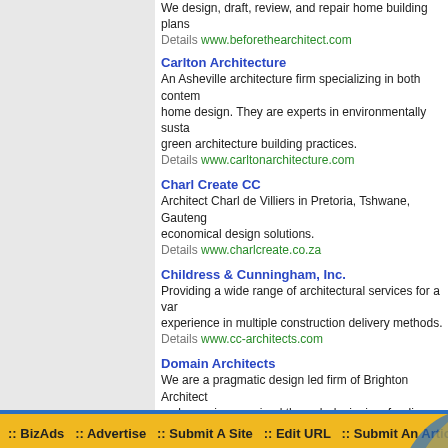We design, draft, review, and repair home building plans
Details www.beforethearchitect.com
Carlton Architecture - An Asheville architecture firm specializing in both contemporary and home design. They are experts in environmentally sustainable and green architecture building practices. Details www.carltonarchitecture.com
Charl Create CC - Architect Charl de Villiers in Pretoria, Tshwane, Gauteng economical design solutions. Details www.charlcreate.co.za
Childress & Cunningham, Inc. - Providing a wide range of architectural services for a variety experience in multiple construction delivery methods. Details www.cc-architects.com
Domain Architects - We are a pragmatic design led firm of Brighton Architects and experience gained through designing, funding, building difficult construction projects in Sussex and beyond. Details www.domain-ltd.co.uk
e-Architect - Web Site of The American Institute of Architects. Details www.e-architect.com
Page: 1 2 3
See Also: Architecture Associations
:: BizAds :: Advertise :: Submit A Site :: Edit URL :: Submit An Article